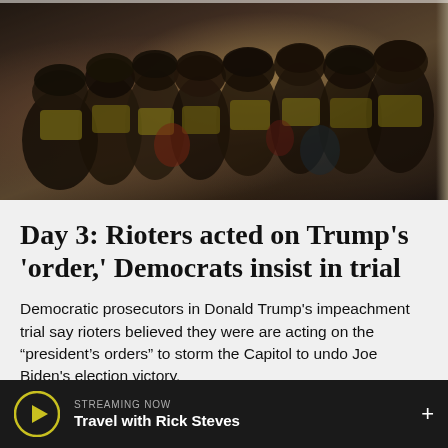[Figure (photo): Screenshot/security camera footage showing a crowd of rioters and police in helmets and high-visibility vests pressed together in a corridor or doorway, low-light/grainy image.]
Day 3: Rioters acted on Trump’s ‘order,’ Democrats insist in trial
Democratic prosecutors in Donald Trump's impeachment trial say rioters believed they were are acting on the “president’s orders” to storm the Capitol to undo Joe Biden's election victory.
Feb. 11, 2021
STREAMING NOW
Travel with Rick Steves